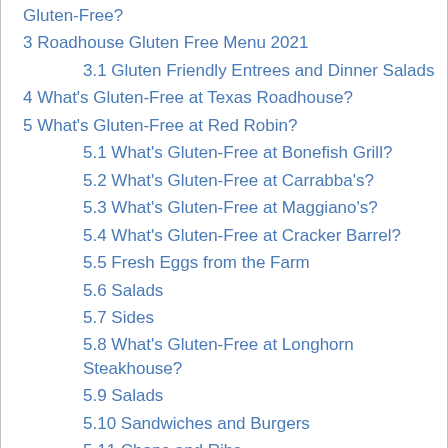Gluten-Free?
3 Roadhouse Gluten Free Menu 2021
3.1 Gluten Friendly Entrees and Dinner Salads
4 What's Gluten-Free at Texas Roadhouse?
5 What's Gluten-Free at Red Robin?
5.1 What's Gluten-Free at Bonefish Grill?
5.2 What's Gluten-Free at Carrabba's?
5.3 What's Gluten-Free at Maggiano's?
5.4 What's Gluten-Free at Cracker Barrel?
5.5 Fresh Eggs from the Farm
5.6 Salads
5.7 Sides
5.8 What's Gluten-Free at Longhorn Steakhouse?
5.9 Salads
5.10 Sandwiches and Burgers
5.11 Chops and Ribs
5.12 What's Gluten-Free at Bob Evans?